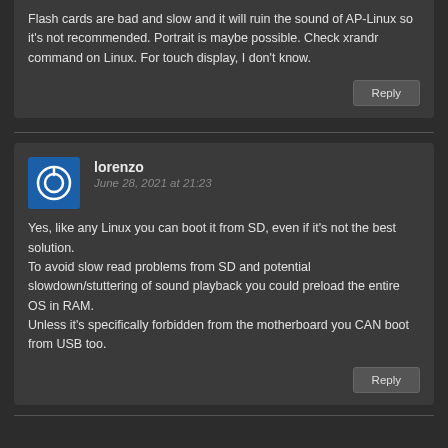Flash cards are bad and slow and it will ruin the sound of AP-Linux so it's not recommended. Portrait is maybe possible. Check xrandr command on Linux. For touch display, I don't know.
Reply
lorenzo
June 28, 2021 at 21:23
Yes, like any Linux you can boot it from SD, even if it's not the best solution. To avoid slow read problems from SD and potential slowdown/stuttering of sound playback you could preload the entire OS in RAM. Unless it's specifically forbidden from the motherboard you CAN boot from USB too.
Reply